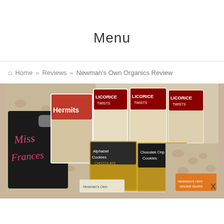Menu
Home » Reviews » Newman's Own Organics Review
[Figure (photo): Photo of Newman's Own Organics products including Hermits, Licorice Twists (multiple bags), Alphabet Cookies, and other organic snack products arranged on a leopard print background, with a handwritten-style 'Miss Frances' text visible on a dark bag.]